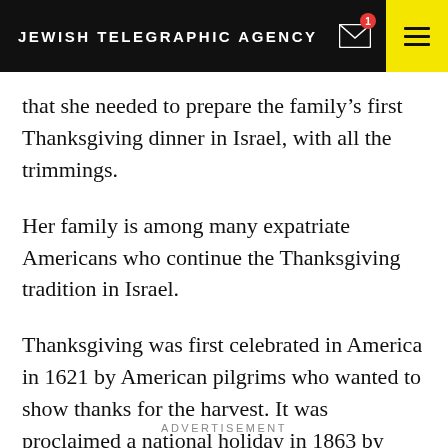JEWISH TELEGRAPHIC AGENCY
that she needed to prepare the family’s first Thanksgiving dinner in Israel, with all the trimmings.
Her family is among many expatriate Americans who continue the Thanksgiving tradition in Israel.
Thanksgiving was first celebrated in America in 1621 by American pilgrims who wanted to show thanks for the harvest. It was proclaimed a national holiday in 1863 by President Abraham Lincoln.
ADVERTISEMENT